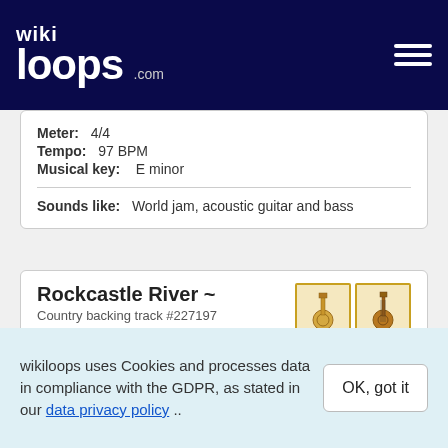wikiloops.com
Meter: 4/4
Tempo: 97 BPM
Musical key: E minor
Sounds like: World jam, acoustic guitar and bass
Rockcastle River ~
Country backing track #227197
Meter: 4/4
Tempo: 115 BPM
Musical key: D major
wikiloops uses Cookies and processes data in compliance with the GDPR, as stated in our data privacy policy ..